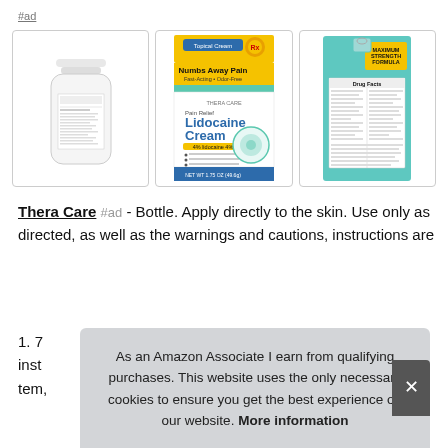#ad
[Figure (photo): Three product images: a white bottle (Thera Care), a box of Thera Care Lidocaine Cream (Numbs Away Pain), and a teal/green package showing drug facts label (Maximum Strength Formula)]
Thera Care #ad - Bottle. Apply directly to the skin. Use only as directed, as well as the warnings and cautions, instructions are
1. 7... inst... tem,
As an Amazon Associate I earn from qualifying purchases. This website uses the only necessary cookies to ensure you get the best experience on our website. More information